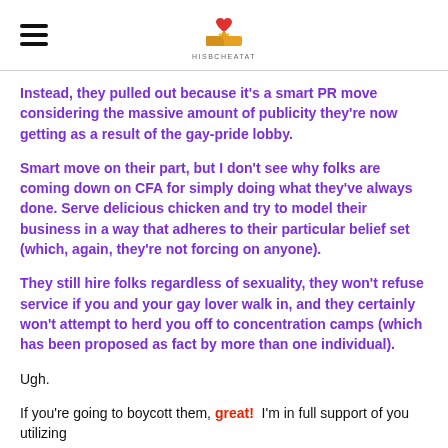HISBCHEATAT (logo)
Instead, they pulled out because it's a smart PR move considering the massive amount of publicity they're now getting as a result of the gay-pride lobby.
Smart move on their part, but I don't see why folks are coming down on CFA for simply doing what they've always done. Serve delicious chicken and try to model their business in a way that adheres to their particular belief set (which, again, they're not forcing on anyone).
They still hire folks regardless of sexuality, they won't refuse service if you and your gay lover walk in, and they certainly won't attempt to herd you off to concentration camps (which has been proposed as fact by more than one individual).
Ugh.
If you're going to boycott them, great!  I'm in full support of you utilizing